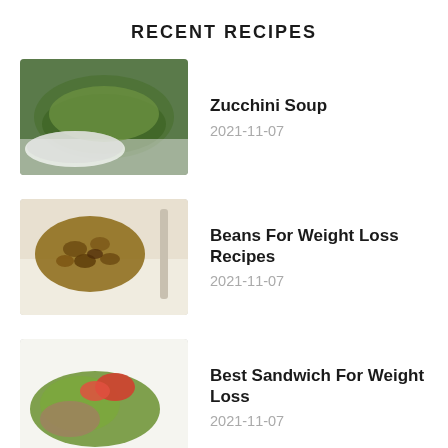RECENT RECIPES
Zucchini Soup
2021-11-07
Beans For Weight Loss Recipes
2021-11-07
Best Sandwich For Weight Loss
2021-11-07
Quinoa Dish For Weight Loss
2021-10-31
CATEGORIES